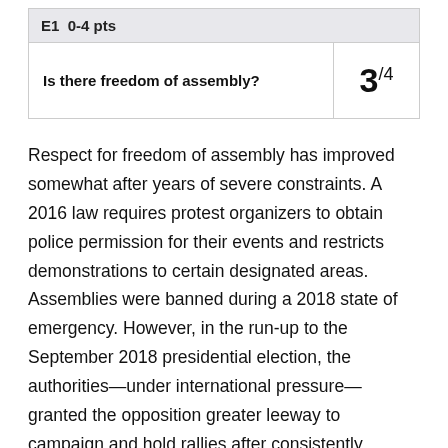| E1  0-4 pts |  |
| --- | --- |
| Is there freedom of assembly? | 3/4 |
Respect for freedom of assembly has improved somewhat after years of severe constraints. A 2016 law requires protest organizers to obtain police permission for their events and restricts demonstrations to certain designated areas. Assemblies were banned during a 2018 state of emergency. However, in the run-up to the September 2018 presidential election, the authorities—under international pressure—granted the opposition greater leeway to campaign and hold rallies after consistently refusing permits in the past. During 2019, opposition supporters and hard-line Islamists were able to hold protests related